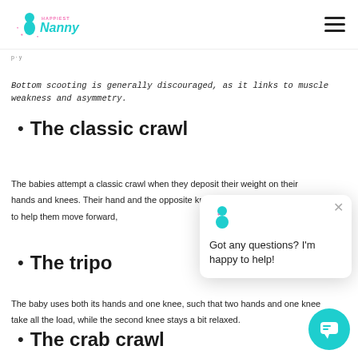Happiest Nanny
Bottom scooting is generally discouraged, as it links to muscle weakness and asymmetry.
The classic crawl
The babies attempt a classic crawl when they deposit their weight on their hands and knees. Their hand and the opposite knee and their body work together to help them move forward,
The tripo
The baby uses both its hands and one knee, such that two hands and one knee take all the load, while the second knee stays a bit relaxed.
The crab crawl